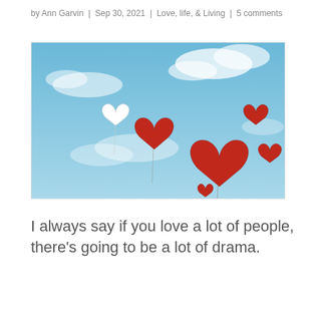by Ann Garvin | Sep 30, 2021 | Love, life, & Living | 5 comments
[Figure (photo): Heart-shaped balloons floating in a blue sky with scattered white clouds. One white heart balloon on the left, several red heart balloons in the center and right, with thin strings trailing below.]
I always say if you love a lot of people, there's going to be a lot of drama.